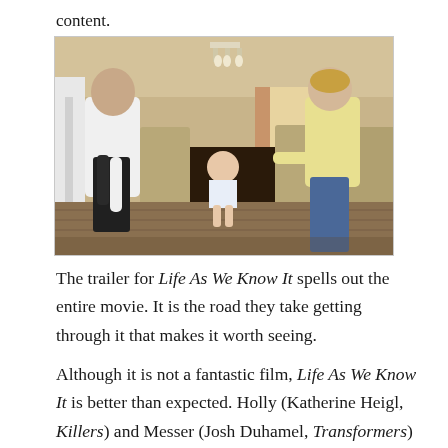content.
[Figure (photo): A man and woman leaning over a baby taking steps in a dining room. The man is on the left wearing a white t-shirt and dark pants, the woman on the right wearing a yellow top and jeans, both helping the infant walk across a dark wood floor with dining chairs in background.]
The trailer for Life As We Know It spells out the entire movie. It is the road they take getting through it that makes it worth seeing.
Although it is not a fantastic film, Life As We Know It is better than expected. Holly (Katherine Heigl, Killers) and Messer (Josh Duhamel, Transformers) do it alone. Even they do not. Molly is a lot of friend.